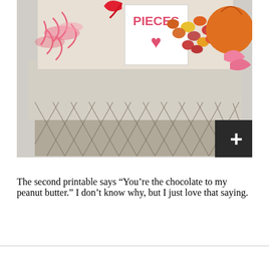[Figure (photo): A wire gift basket lined with burlap fabric, filled with pink shredded paper, colorful candies (M&Ms or similar), and a white card/tag that reads 'PIECES' with a pink heart. A red ribbon and orange items are also visible.]
The second printable says “You’re the chocolate to my peanut butter.” I don’t know why, but I just love that saying.